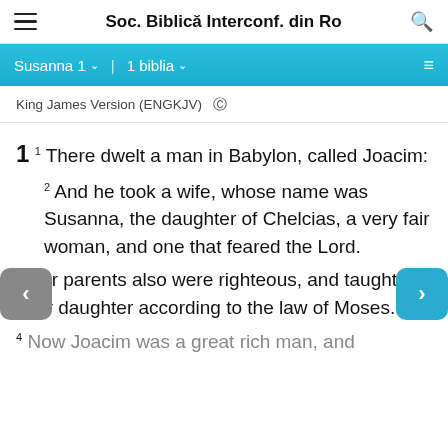Soc. Biblică Interconf. din Ro
Susanna 1  1 biblia
King James Version (ENGKJV)  ©
1  1There dwelt a man in Babylon, called Joacim:
2 And he took a wife, whose name was Susanna, the daughter of Chelcias, a very fair woman, and one that feared the Lord.
3 Her parents also were righteous, and taught their daughter according to the law of Moses.
4 Now Joacim was a great rich man, and